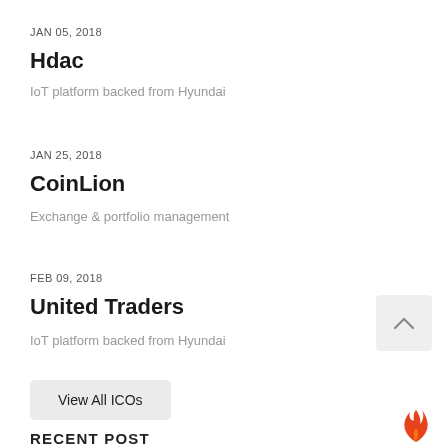JAN 05, 2018
Hdac
IoT platform backed from Hyundai
JAN 25, 2018
CoinLion
Exchange & portfolio management
FEB 09, 2018
United Traders
IoT platform backed from Hyundai
View All ICOs
RECENT POST